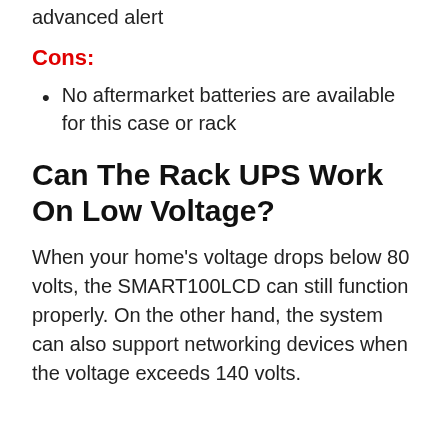advanced alert
Cons:
No aftermarket batteries are available for this case or rack
Can The Rack UPS Work On Low Voltage?
When your home's voltage drops below 80 volts, the SMART100LCD can still function properly. On the other hand, the system can also support networking devices when the voltage exceeds 140 volts.